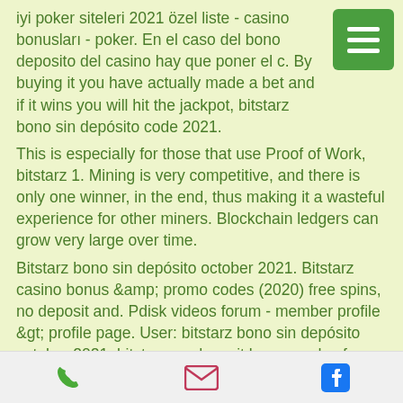iyi poker siteleri 2021 özel liste - casino bonusları - poker. En el caso del bono deposito del casino hay que poner el c. By buying it you have actually made a bet and if it wins you will hit the jackpot, bitstarz bono sin depósito code 2021.
This is especially for those that use Proof of Work, bitstarz 1. Mining is very competitive, and there is only one winner, in the end, thus making it a wasteful experience for other miners. Blockchain ledgers can grow very large over time.
Bitstarz bono sin depósito october 2021. Bitstarz casino bonus &amp; promo codes (2020) free spins, no deposit and. Pdisk videos forum - member profile &gt; profile page. User: bitstarz bono sin depósito october 2021, bitstarz no deposit bonus codes for existing users 2021,. These include...